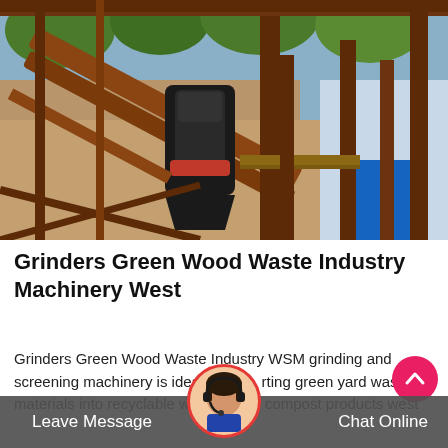[Figure (photo): Industrial machinery/grinder equipment on metal scaffolding structure with stone/rock background and blue sky with trees in background]
Grinders Green Wood Waste Industry Machinery West
Grinders Green Wood Waste Industry WSM grinding and screening machinery is ideal for converting green yard waste materials into recyclable wood and compost products west
Leave Message
Chat Online